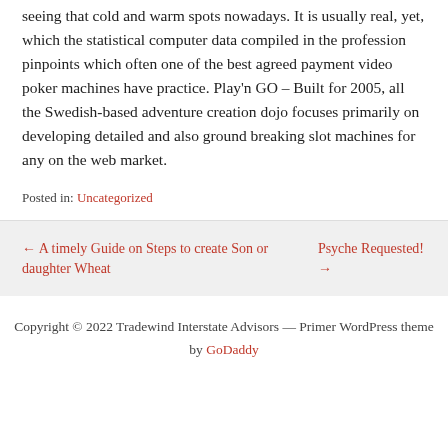seeing that cold and warm spots nowadays. It is usually real, yet, which the statistical computer data compiled in the profession pinpoints which often one of the best agreed payment video poker machines have practice. Play'n GO – Built for 2005, all the Swedish-based adventure creation dojo focuses primarily on developing detailed and also ground breaking slot machines for any on the web market.
Posted in: Uncategorized
← A timely Guide on Steps to create Son or daughter Wheat
Psyche Requested! →
Copyright © 2022 Tradewind Interstate Advisors — Primer WordPress theme by GoDaddy